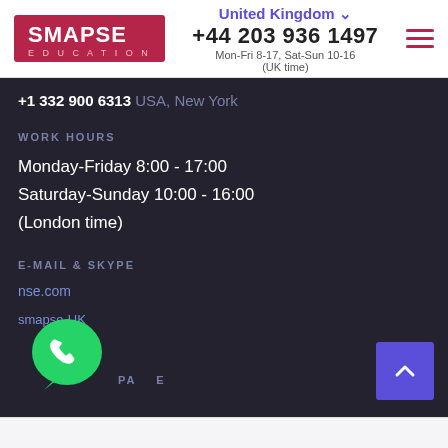SMAPSE EDUCATION | United Kingdom | +44 203 936 1497 | Mon-Fri 8-17, Sat-Sun 10-16 (UK time)
+1 332 900 6313 USA, New York
WORK HOURS
Monday-Friday 8:00 - 17:00
Saturday-Sunday 10:00 - 16:00
(London time)
E-MAIL & SKYPE
...se.com
...smapse-UK
[Figure (logo): WhatsApp logo icon - green chat bubble with phone handset]
[Figure (illustration): Green chat/message button icon - circular green button with white chat bubble]
PA...E